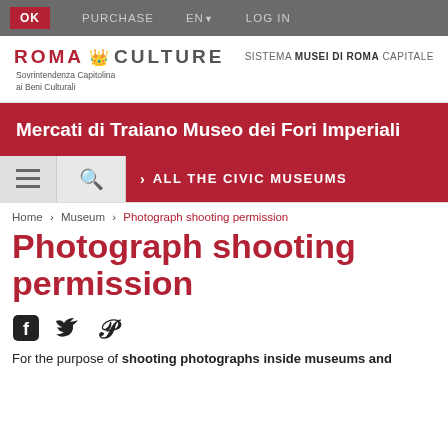OK  PURCHASE  EN  LOG IN
[Figure (logo): Roma Culture logo with crown icon, Sovrintendenza Capitolina ai Beni Culturali subtitle, and Sistema Musei di Roma Capitale text on the right]
Mercati di Traiano Museo dei Fori Imperiali
ALL THE CIVIC MUSEUMS
Home › Museum › Photograph shooting permission
Photograph shooting permission
[Figure (infographic): Social sharing icons: Facebook, Twitter, Pinterest]
For the purpose of shooting photographs inside museums and